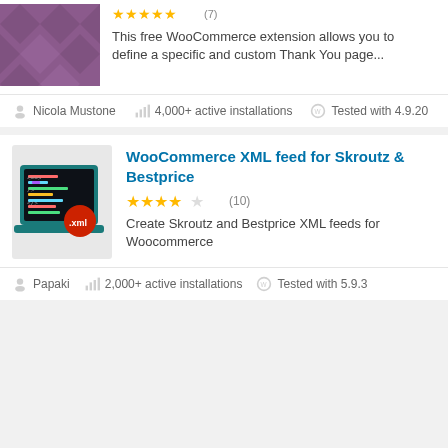[Figure (screenshot): Purple diamond pattern plugin thumbnail image (partial, cropped at top)]
This free WooCommerce extension allows you to define a specific and custom Thank You page...
Nicola Mustone
4,000+ active installations
Tested with 4.9.20
WooCommerce XML feed for Skroutz & Bestprice
[Figure (screenshot): Plugin thumbnail showing a laptop with code editor and .xml badge in red circle]
(10)
Create Skroutz and Bestprice XML feeds for Woocommerce
Papaki
2,000+ active installations
Tested with 5.9.3